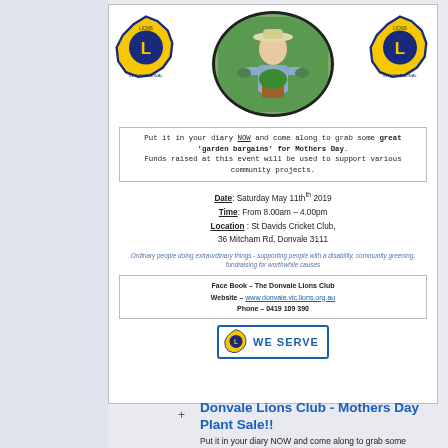[Figure (illustration): Flyer for Donvale Lions Club Mothers Day Plant Sale. Contains two Lions International logos on left and right, a center oval photo of a woman gardener in a hat holding a potted plant. Below: text box with event promotion, date/time/location details, tagline, contact info box with Facebook, website and phone, and a 'We Serve' Lions badge.]
Donvale Lions Club - Mothers Day Plant Sale!!
Put it in your diary NOW and come along to grab some